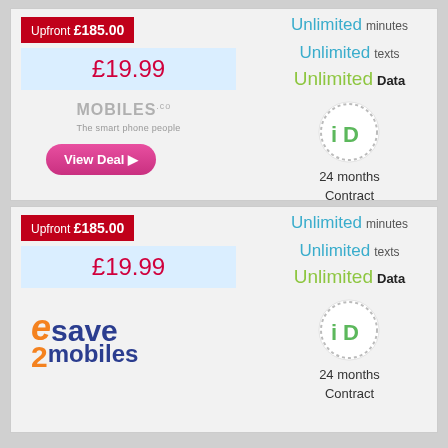Upfront £185.00
£19.99
[Figure (logo): Mobiles.co.uk logo — grey bold text 'MOBILES' with '.co.uk' superscript and 'The smart phone people' tagline]
View Deal ▶
Unlimited minutes
Unlimited texts
Unlimited Data
[Figure (logo): iD Mobile network logo — circular dotted badge with green 'iD' letters]
24 months
Contract
Upfront £185.00
£19.99
Unlimited minutes
Unlimited texts
Unlimited Data
[Figure (logo): iD Mobile network logo — circular dotted badge with green 'iD' letters]
24 months
Contract
[Figure (logo): e2save mobiles logo — orange italic 'e' with blue 'save' text, orange '2' with blue 'mobiles' below]